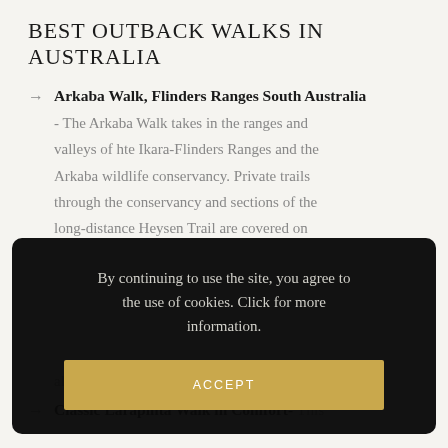BEST OUTBACK WALKS IN AUSTRALIA
Arkaba Walk, Flinders Ranges South Australia - The Arkaba Walk takes in the ranges and valleys of hte Ikara-Flinders Ranges and the Arkaba wildlife conservancy. Private trails through the conservancy and sections of the long-distance Heysen Trail are covered on
[Figure (screenshot): Cookie consent modal overlay on dark background with text: 'By continuing to use the site, you agree to the use of cookies. Click for more information.' and an ACCEPT button in gold/tan color.]
also one of the Great Walks of Australia.
Classic Larapinta Walk in Comfort- This